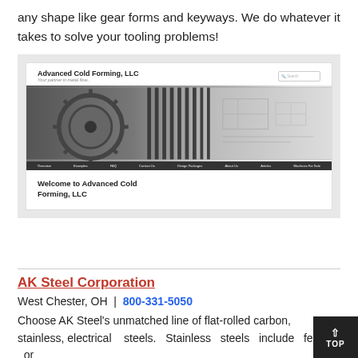any shape like gear forms and keyways. We do whatever it takes to solve your tooling problems!
[Figure (screenshot): Screenshot of Advanced Cold Forming, LLC website showing company logo, search bar, a hero image of gears and engineering drawings, navigation menu, and the heading 'Welcome to Advanced Cold Forming, LLC']
AK Steel Corporation
West Chester, OH  |  800-331-5050
Choose AK Steel's unmatched line of flat-rolled carbon, stainless, electrical steels. Stainless steels include ferritic or